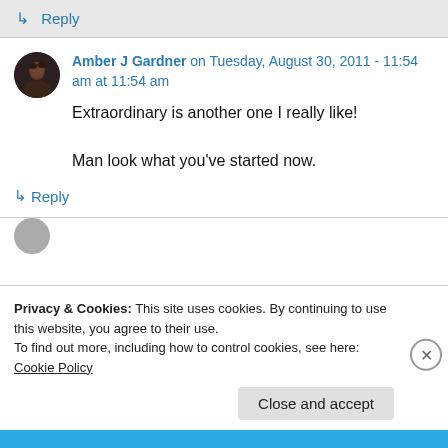↳ Reply
Amber J Gardner on Tuesday, August 30, 2011 - 11:54 am at 11:54 am
Extraordinary is another one I really like!

Man look what you've started now.
↳ Reply
Privacy & Cookies: This site uses cookies. By continuing to use this website, you agree to their use.
To find out more, including how to control cookies, see here: Cookie Policy
Close and accept